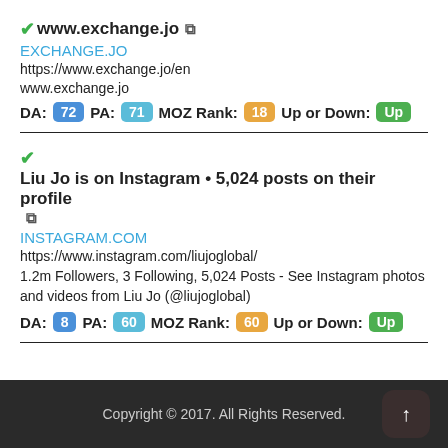✓www.exchange.jo [external link]
EXCHANGE.JO
https://www.exchange.jo/en
www.exchange.jo
DA: 72  PA: 71  MOZ Rank: 18  Up or Down: Up
✓Liu Jo is on Instagram • 5,024 posts on their profile [external link]
INSTAGRAM.COM
https://www.instagram.com/liujoglobal/
1.2m Followers, 3 Following, 5,024 Posts - See Instagram photos and videos from Liu Jo (@liujoglobal)
DA: 8  PA: 60  MOZ Rank: 60  Up or Down: Up
Copyright © 2017. All Rights Reserved.